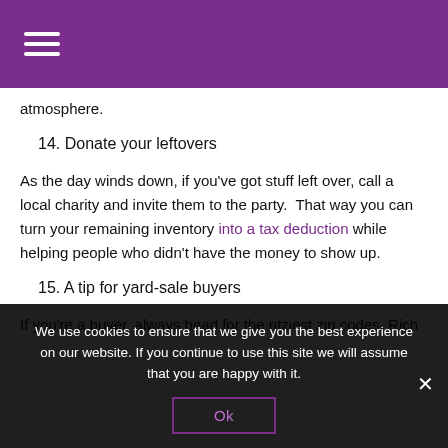☰ (hamburger menu icon)
atmosphere.
14. Donate your leftovers
As the day winds down, if you've got stuff left over, call a local charity and invite them to the party.  That way you can turn your remaining inventory into a tax deduction while helping people who didn't have the money to show up.
15. A tip for yard-sale buyers
If you're a buyer, always head for the ritziest zip codes. Rich
We use cookies to ensure that we give you the best experience on our website. If you continue to use this site we will assume that you are happy with it.